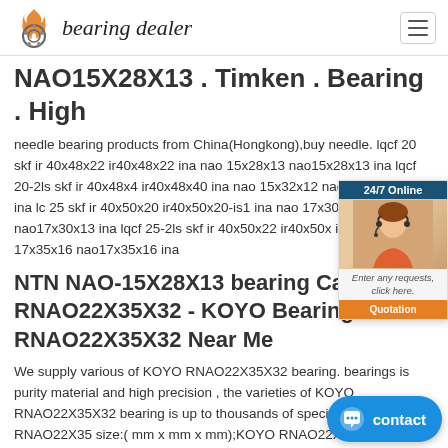bearing dealer
NAO15X28X13 . Timken . Bearing . High
needle bearing products from China(Hongkong),buy needle. lqcf 20 skf ir 40x48x22 ir40x48x22 ina nao 15x28x13 nao15x28x13 ina lqcf 20-2ls skf ir 40x48x4 ir40x48x40 ina nao 15x32x12 nao15x32x12-is1 ina lc 25 skf ir 40x50x20 ir40x50x20-is1 ina nao 17x30x13 nao17x30x13 ina lqcf 25-2ls skf ir 40x50x22 ir40x50x ina nao 17x35x16 nao17x35x16 ina
NTN NAO-15X28X13 bearing Canada RNAO22X35X32 - KOYO Bearing - RNAO22X35X32 Near Me
We supply various of KOYO RNAO22X35X32 bearing. bearings is purity material and high precision , the varieties of KOYO RNAO22X35X32 bearing is up to thousands of species .KOYO RNAO22X35 size:( mm x mm x mm);KOYO RNAO22X3 bearing type:Deep Groove bearing, and widely used in